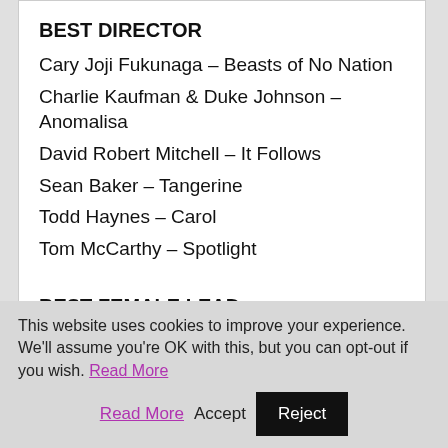BEST DIRECTOR
Cary Joji Fukunaga – Beasts of No Nation
Charlie Kaufman & Duke Johnson – Anomalisa
David Robert Mitchell – It Follows
Sean Baker – Tangerine
Todd Haynes – Carol
Tom McCarthy – Spotlight
BEST FEMALE LEAD
Bel Powley – The Diary of a Teenage Girl
Brie Larson – Room
Cate Blanchett – Carol
Kitana Kiki Rodriguez – Tangerine
This website uses cookies to improve your experience. We'll assume you're OK with this, but you can opt-out if you wish. Read More Accept Reject